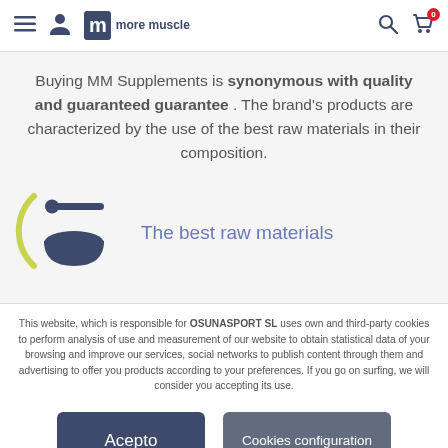more muscle (logo) — navigation header with hamburger menu, user icon, search, and cart (0)
Buying MM Supplements is synonymous with quality and guaranteed guarantee . The brand's products are characterized by the use of the best raw materials in their composition.
[Figure (illustration): Circular yellow-green arc icon with a dark blue bowl and spoon — representing raw materials/supplements]
The best raw materials
This website, which is responsible for OSUNASPORT SL uses own and third-party cookies to perform analysis of use and measurement of our website to obtain statistical data of your browsing and improve our services, social networks to publish content through them and advertising to offer you products according to your preferences. If you go on surfing, we will consider you accepting its use.
Acepto
Cookies configuration